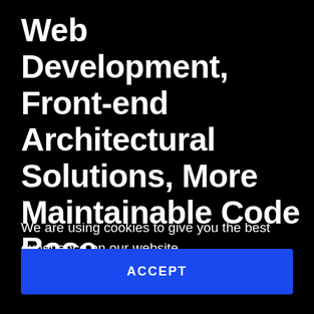Web Development, Front-end Architectural Solutions, More Maintainable Code Base
We are using cookies to give you the best experience on our website.
ACCEPT